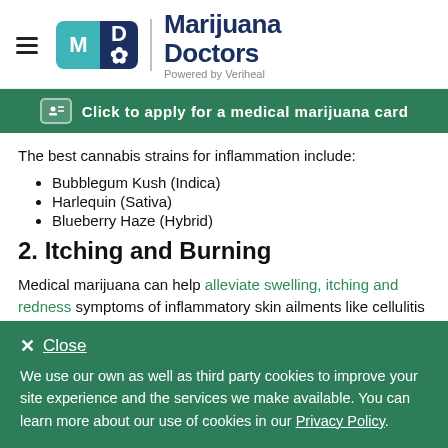Marijuana Doctors — Powered by Veriheal
Click to apply for a medical marijuana card
The best cannabis strains for inflammation include:
Bubblegum Kush (Indica)
Harlequin (Sativa)
Blueberry Haze (Hybrid)
2. Itching and Burning
Medical marijuana can help alleviate swelling, itching and redness symptoms of inflammatory skin ailments like cellulitis create.
We use our own as well as third party cookies to improve your site experience and the services we make available. You can learn more about our use of cookies in our Privacy Policy.